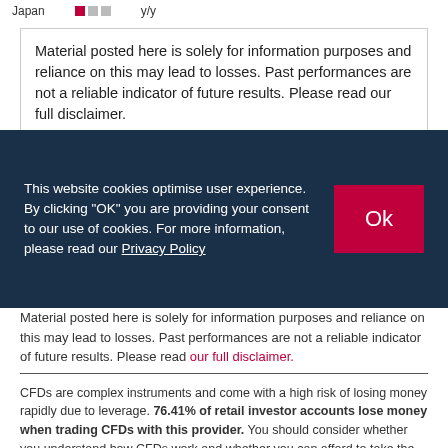Japan y/y
Material posted here is solely for information purposes and reliance on this may lead to losses. Past performances are not a reliable indicator of future results. Please read our full disclaimer.
This website cookies optimise user experience. By clicking "OK" you are providing your consent to our use of cookies. For more information, please read our Privacy Policy
Material posted here is solely for information purposes and reliance on this may lead to losses. Past performances are not a reliable indicator of future results. Please read our full disclaimer.
CFDs are complex instruments and come with a high risk of losing money rapidly due to leverage. 76.41% of retail investor accounts lose money when trading CFDs with this provider. You should consider whether you understand how CFDs work and whether you can afford to take the high risk of losing your money.